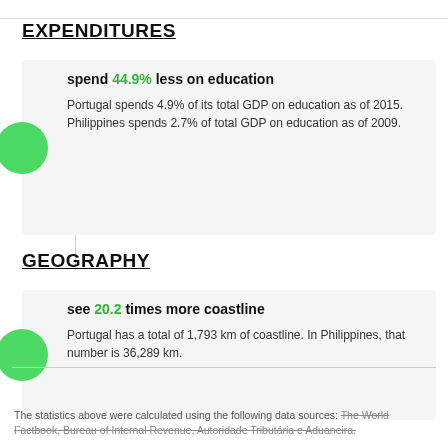EXPENDITURES
spend 44.9% less on education
Portugal spends 4.9% of its total GDP on education as of 2015. Philippines spends 2.7% of total GDP on education as of 2009.
GEOGRAPHY
see 20.2 times more coastline
Portugal has a total of 1,793 km of coastline. In Philippines, that number is 36,289 km.
The statistics above were calculated using the following data sources: The World Factbook, Bureau of Internal Revenue, Autoridade Tributária e Aduaneira.